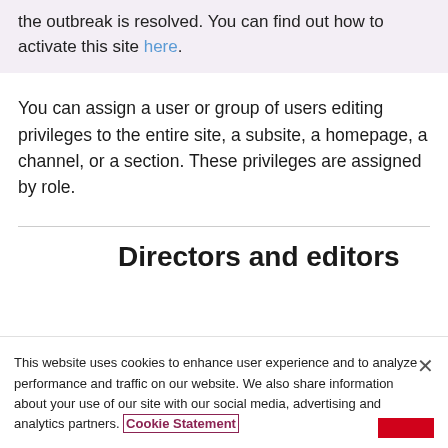the outbreak is resolved. You can find out how to activate this site here.
You can assign a user or group of users editing privileges to the entire site, a subsite, a homepage, a channel, or a section. These privileges are assigned by role.
Directors and editors
This website uses cookies to enhance user experience and to analyze performance and traffic on our website. We also share information about your use of our site with our social media, advertising and analytics partners. Cookie Statement